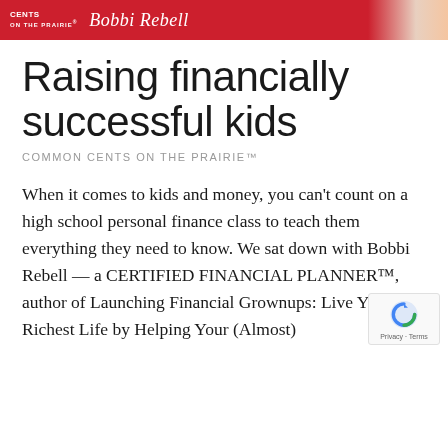[Figure (illustration): Red banner header with white logo text 'COMMON CENTS ON THE PRAIRIE' and cursive script 'Bobbi Rebell' with a partial figure illustration on the right]
Raising financially successful kids
COMMON CENTS ON THE PRAIRIE™
When it comes to kids and money, you can't count on a high school personal finance class to teach them everything they need to know. We sat down with Bobbi Rebell — a CERTIFIED FINANCIAL PLANNER™, author of Launching Financial Grownups: Live Your Richest Life by Helping Your (Almost)